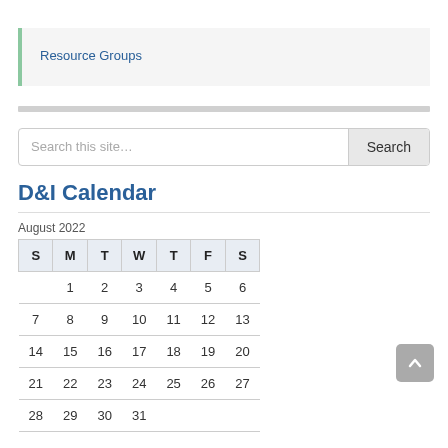Resource Groups
[Figure (other): Horizontal grey divider bar]
Search this site...
D&I Calendar
August 2022
| S | M | T | W | T | F | S |
| --- | --- | --- | --- | --- | --- | --- |
|  | 1 | 2 | 3 | 4 | 5 | 6 |
| 7 | 8 | 9 | 10 | 11 | 12 | 13 |
| 14 | 15 | 16 | 17 | 18 | 19 | 20 |
| 21 | 22 | 23 | 24 | 25 | 26 | 27 |
| 28 | 29 | 30 | 31 |  |  |  |